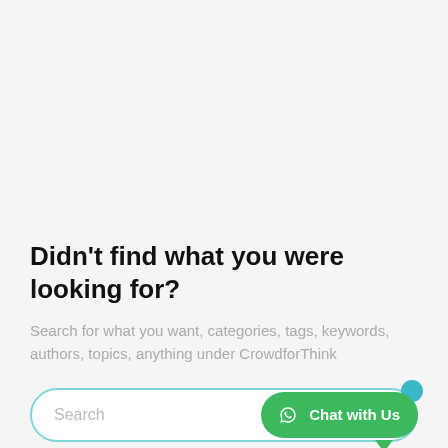Didn't find what you were looking for?
Search for what you want, categories, tags, keywords, authors, topics, anything under CrowdforThink
[Figure (screenshot): Search input box with rounded border in teal/cyan color, with placeholder text 'Search', and a green WhatsApp 'Chat with Us' button on the right side]